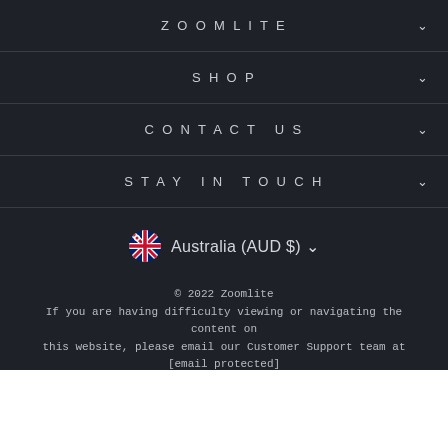ZOOMLITE
SHOP
CONTACT US
STAY IN TOUCH
Australia (AUD $)
© 2022 Zoomlite
If you are having difficulty viewing or navigating the content on this website, please email our Customer Support team at [email protected]